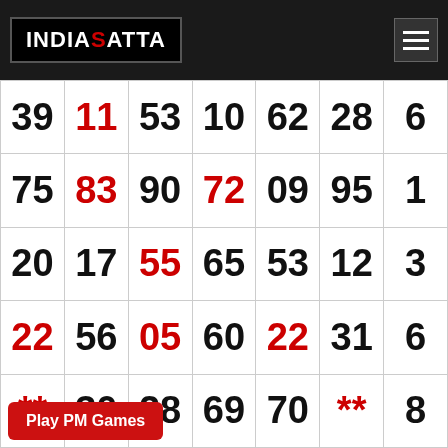INDIA SATTA
| 39 | 11 | 53 | 10 | 62 | 28 | 6 |
| 75 | 83 | 90 | 72 | 09 | 95 | 1 |
| 20 | 17 | 55 | 65 | 53 | 12 | 3 |
| 22 | 56 | 05 | 60 | 22 | 31 | 6 |
| ** | 30 | 28 | 69 | 70 | ** | 8 |
Play PM Games